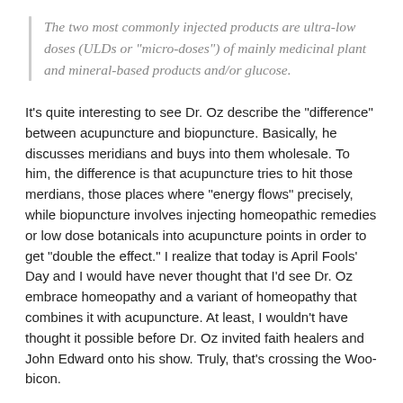The two most commonly injected products are ultra-low doses (ULDs or "micro-doses") of mainly medicinal plant and mineral-based products and/or glucose.
It's quite interesting to see Dr. Oz describe the "difference" between acupuncture and biopuncture. Basically, he discusses meridians and buys into them wholesale. To him, the difference is that acupuncture tries to hit those merdians, those places where "energy flows" precisely, while biopuncture involves injecting homeopathic remedies or low dose botanicals into acupuncture points in order to get "double the effect." I realize that today is April Fools' Day and I would have never thought that I'd see Dr. Oz embrace homeopathy and a variant of homeopathy that combines it with acupuncture. At least, I wouldn't have thought it possible before Dr. Oz invited faith healers and John Edward onto his show. Truly, that's crossing the Woo-bicon.
During the first season his show was on the air, Dr. Oz flirted with quackery, but remained mostly science-based. No more, apparently. For whatever reason, be it the relentless maw of